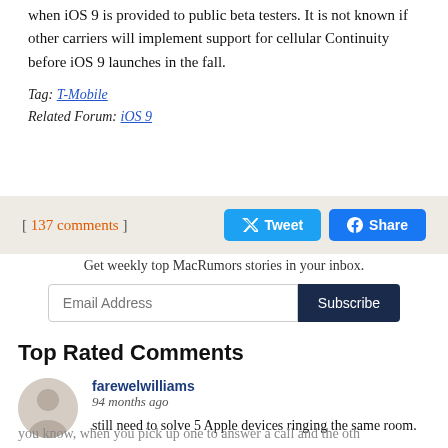when iOS 9 is provided to public beta testers. It is not known if other carriers will implement support for cellular Continuity before iOS 9 launches in the fall.
Tag: T-Mobile
Related Forum: iOS 9
[ 137 comments ]
Get weekly top MacRumors stories in your inbox.
Top Rated Comments
farewelwilliams
94 months ago
still need to solve 5 Apple devices ringing the same room.
you know, when you pick up one to answer a call and the oth